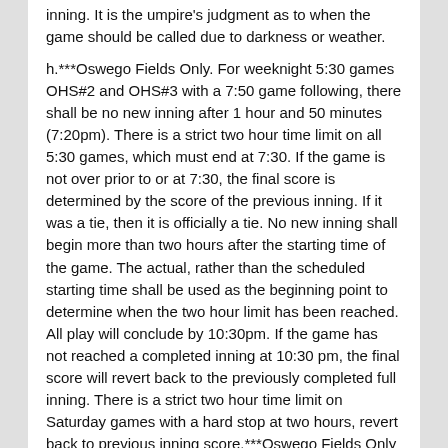inning. It is the umpire's judgment as to when the game should be called due to darkness or weather.
h.***Oswego Fields Only. For weeknight 5:30 games OHS#2 and OHS#3 with a 7:50 game following, there shall be no new inning after 1 hour and 50 minutes (7:20pm). There is a strict two hour time limit on all 5:30 games, which must end at 7:30. If the game is not over prior to or at 7:30, the final score is determined by the score of the previous inning. If it was a tie, then it is officially a tie. No new inning shall begin more than two hours after the starting time of the game. The actual, rather than the scheduled starting time shall be used as the beginning point to determine when the two hour limit has been reached. All play will conclude by 10:30pm. If the game has not reached a completed inning at 10:30 pm, the final score will revert back to the previously completed full inning. There is a strict two hour time limit on Saturday games with a hard stop at two hours, revert back to previous inning score.***Oswego Fields Only
2. Visiting team gets the field 20-30 minutes prior to the start of game. Home team gets the field 10-20 minutes prior to start of the game. No batting practice on the field,              prior to any game.
3. The Home team will occupy the 3rd base dugout and supply 2 new